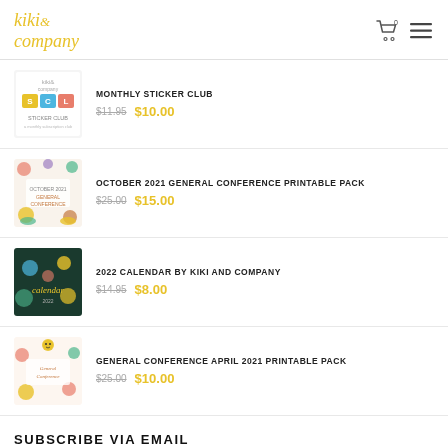kiki& company
MONTHLY STICKER CLUB $11.95 $10.00
OCTOBER 2021 GENERAL CONFERENCE PRINTABLE PACK $25.00 $15.00
2022 CALENDAR BY KIKI AND COMPANY $14.95 $8.00
GENERAL CONFERENCE APRIL 2021 PRINTABLE PACK $25.00 $10.00
SUBSCRIBE VIA EMAIL